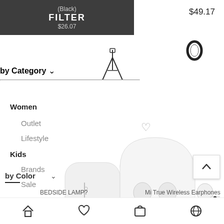(Black)
$26.07
FILTER
$49.17
by Category
Women
Outlet
Lifestyle
Kids
Brands
Sale
[Figure (photo): White bedside lamp / canister product]
[Figure (photo): Mi True Wireless Earphones in open white charging case with one earbud out]
by Color
BEDSIDE LAMP?
Mi True Wireless Earphones